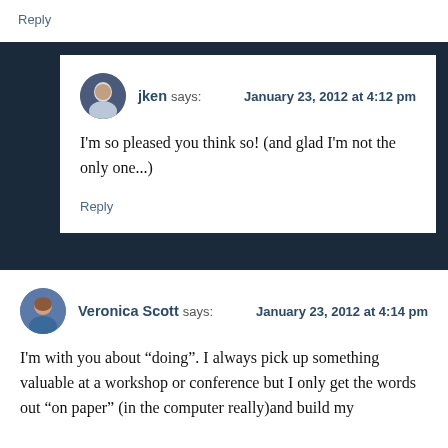Reply
jken says: January 23, 2012 at 4:12 pm
I'm so pleased you think so! (and glad I'm not the only one...)
Reply
Veronica Scott says: January 23, 2012 at 4:14 pm
I'm with you about “doing”. I always pick up something valuable at a workshop or conference but I only get the words out “on paper” (in the computer really)and build my